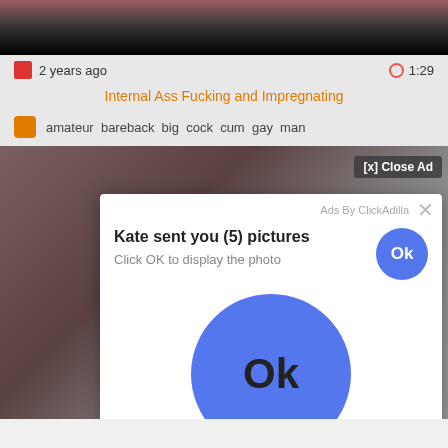[Figure (screenshot): Video thumbnail showing dark blurred background at top]
2 years ago
1:29
Internal Ass Fucking and Impregnating
amateur  bareback  big  cock  cum  gay  man
[Figure (screenshot): Video player area with blurred background and overlaid ad popup. The popup shows: Ads By ClickAdilla [x], Kate sent you (5) pictures [Ok button], Click OK to display the photo, large Ok button, a1h label. Also shows [x] Close Ad button.]